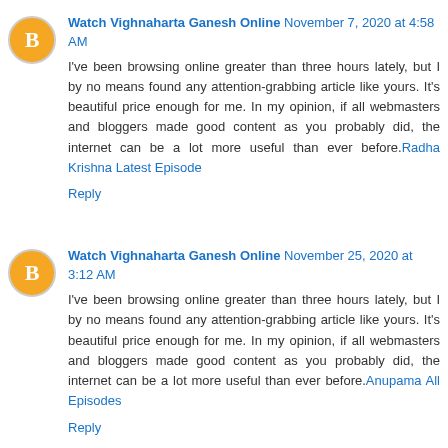Watch Vighnaharta Ganesh Online November 7, 2020 at 4:58 AM
I've been browsing online greater than three hours lately, but I by no means found any attention-grabbing article like yours. It's beautiful price enough for me. In my opinion, if all webmasters and bloggers made good content as you probably did, the internet can be a lot more useful than ever before. Radha Krishna Latest Episode
Reply
Watch Vighnaharta Ganesh Online November 25, 2020 at 3:12 AM
I've been browsing online greater than three hours lately, but I by no means found any attention-grabbing article like yours. It's beautiful price enough for me. In my opinion, if all webmasters and bloggers made good content as you probably did, the internet can be a lot more useful than ever before. Anupama All Episodes
Reply